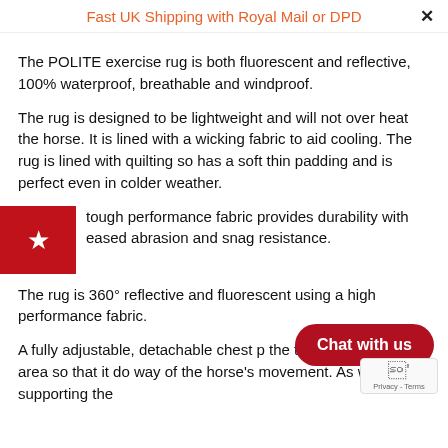Fast UK Shipping with Royal Mail or DPD
The POLITE exercise rug is both fluorescent and reflective, 100% waterproof, breathable and windproof.
The rug is designed to be lightweight and will not over heat the horse. It is lined with a wicking fabric to aid cooling. The rug is lined with quilting so has a soft thin padding and is perfect even in colder weather.
tough performance fabric provides durability with eased abrasion and snag resistance.
The rug is 360° reflective and fluorescent using a high performance fabric.
A fully adjustable, detachable chest p the top of the pommel area so that it do way of the horse's movement. As well as supporting the